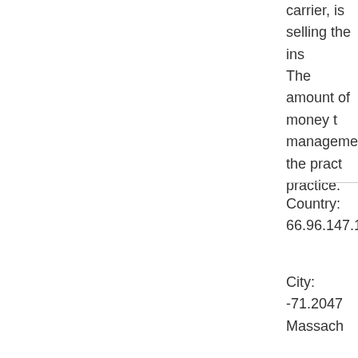carrier, is selling the ins... The amount of money t... management, the pract... practice.
Country: 66.96.147.101...
City: -71.2047 Massach...
Y. Huang - Don't su... I have tried this app on... is just like the print cop... because of the nice iPa... What is left is lines and... better than this paid su...